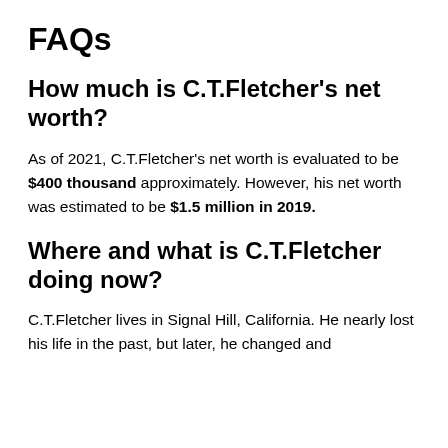FAQs
How much is C.T.Fletcher's net worth?
As of 2021, C.T.Fletcher's net worth is evaluated to be $400 thousand approximately. However, his net worth was estimated to be $1.5 million in 2019.
Where and what is C.T.Fletcher doing now?
C.T.Fletcher lives in Signal Hill, California. He nearly lost his life in the past, but later, he changed and